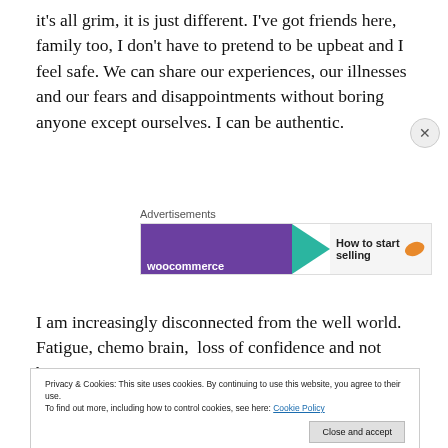it's all grim, it is just different. I've got friends here, family too, I don't have to pretend to be upbeat and I feel safe. We can share our experiences, our illnesses and our fears and disappointments without boring anyone except ourselves. I can be authentic.
[Figure (other): Advertisement banner with purple background, teal arrow, and orange leaf, text 'How to start selling']
I am increasingly disconnected from the well world. Fatigue, chemo brain,  loss of confidence and not being
Privacy & Cookies: This site uses cookies. By continuing to use this website, you agree to their use.
To find out more, including how to control cookies, see here: Cookie Policy